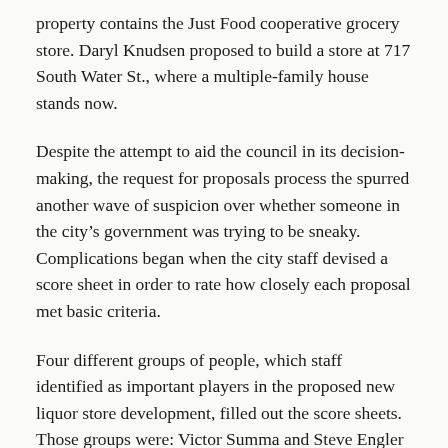property contains the Just Food cooperative grocery store. Daryl Knudsen proposed to build a store at 717 South Water St., where a multiple-family house stands now.
Despite the attempt to aid the council in its decision-making, the request for proposals process the spurred another wave of suspicion over whether someone in the city's government was trying to be sneaky. Complications began when the city staff devised a score sheet in order to rate how closely each proposal met basic criteria.
Four different groups of people, which staff identified as important players in the proposed new liquor store development, filled out the score sheets. Those groups were: Victor Summa and Steve Engler of the Economic Development Authority's Infill Committee; city staff,